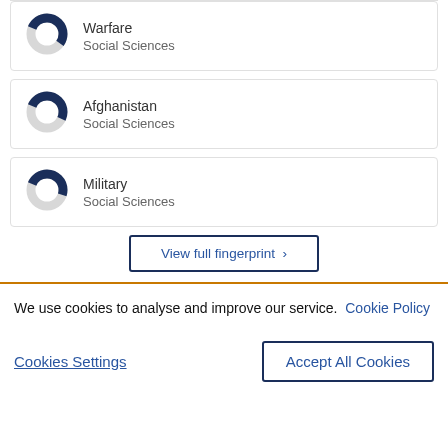[Figure (donut-chart): Partial donut chart for Warfare topic, Social Sciences]
Warfare
Social Sciences
[Figure (donut-chart): Partial donut chart for Afghanistan topic, Social Sciences]
Afghanistan
Social Sciences
[Figure (donut-chart): Partial donut chart for Military topic, Social Sciences]
Military
Social Sciences
View full fingerprint >
We use cookies to analyse and improve our service. Cookie Policy
Cookies Settings
Accept All Cookies